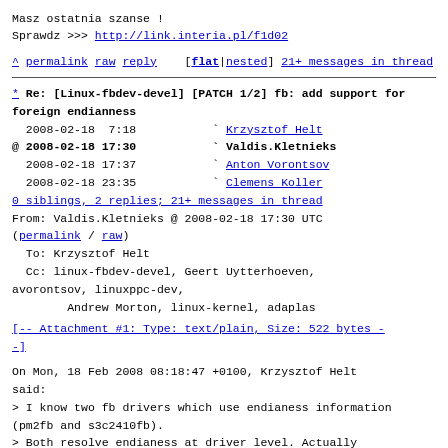Masz ostatnia szanse !
Sprawdz >>> http://link.interia.pl/f1d02
^ permalink raw reply [flat|nested] 21+ messages in thread
* Re: [Linux-fbdev-devel] [PATCH 1/2] fb: add support for foreign endianness
2008-02-18 7:18 ` Krzysztof Helt
@ 2008-02-18 17:30 ` Valdis.Kletnieks
2008-02-18 17:37 ` Anton Vorontsov
2008-02-18 23:35 ` Clemens Koller
0 siblings, 2 replies; 21+ messages in thread
From: Valdis.Kletnieks @ 2008-02-18 17:30 UTC
(permalink / raw)
To: Krzysztof Helt
Cc: linux-fbdev-devel, Geert Uytterhoeven, avorontsov, linuxppc-dev,
    Andrew Morton, linux-kernel, adaplas
[-- Attachment #1: Type: text/plain, Size: 522 bytes --]
On Mon, 18 Feb 2008 08:18:47 +0100, Krzysztof Helt said:
> I know two fb drivers which use endianess information (pm2fb and s3c2410fb).
> Both resolve endianess at driver level. Actually